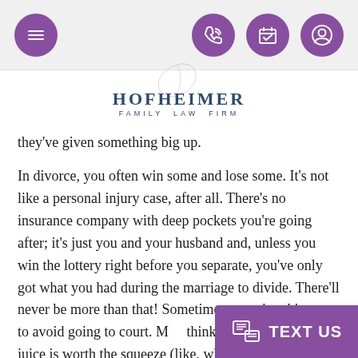[Navigation bar with menu icon, phone icon, calendar icon, profile icon]
[Figure (logo): Hofheimer Family Law Firm logo with stylized H script overlay]
they’ve given something big up.
In divorce, you often win some and lose some.  It’s not like a personal injury case, after all.  There’s no insurance company with deep pockets you’re going after; it’s just you and your husband and, unless you win the lottery right before you separate, you’ve only got what you had during the marriage to divide.  There’ll never be more than that! Sometimes, too, people give things up to avoid going to court.  M… think that, ultimately, the juice is worth the squeeze (like, what you want doesn’t cost what going to court will cost), or you just don’t have the up front money to